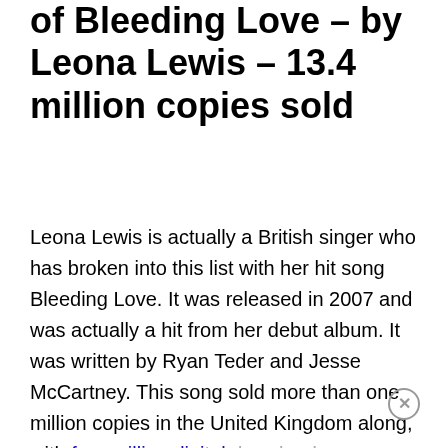of Bleeding Love – by Leona Lewis – 13.4 million copies sold
Leona Lewis is actually a British singer who has broken into this list with her hit song Bleeding Love. It was released in 2007 and was actually a hit from her debut album. It was written by Ryan Teder and Jesse McCartney. This song sold more than one million copies in the United Kingdom along, with four million digital downloads happening in America. That makes it one of the 20 top selling